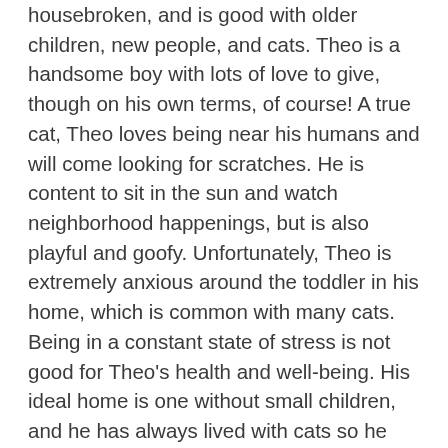housebroken, and is good with older children, new people, and cats. Theo is a handsome boy with lots of love to give, though on his own terms, of course! A true cat, Theo loves being near his humans and will come looking for scratches. He is content to sit in the sun and watch neighborhood happenings, but is also playful and goofy. Unfortunately, Theo is extremely anxious around the toddler in his home, which is common with many cats. Being in a constant state of stress is not good for Theo's health and well-being. His ideal home is one without small children, and he has always lived with cats so he may do well with another cat - but no dogs, please! Theo has so much to offer his furever family, so please offer Theo his furever home today.  Theo's owners are very sad to have to rehome their cherished Cat.